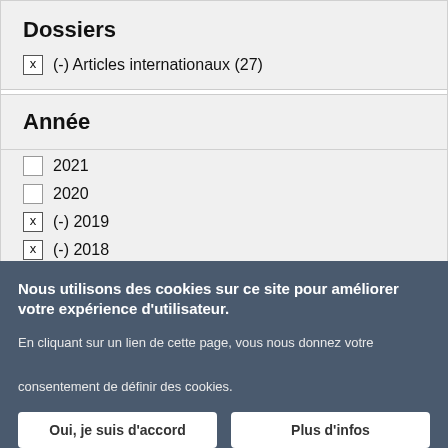Dossiers
x (-) Articles internationaux (27)
Année
☐ 2021
☐ 2020
x (-) 2019
x (-) 2018
☐ 2017
x (-) 2016
Nous utilisons des cookies sur ce site pour améliorer votre expérience d'utilisateur.
En cliquant sur un lien de cette page, vous nous donnez votre consentement de définir des cookies.
Oui, je suis d'accord   Plus d'infos